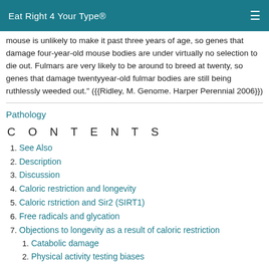Eat Right 4 Your Type®
mouse is unlikely to make it past three years of age, so genes that damage four-year-old mouse bodies are under virtually no selection to die out. Fulmars are very likely to be around to breed at twenty, so genes that damage twentyyear-old fulmar bodies are still being ruthlessly weeded out." ({{Ridley, M. Genome. Harper Perennial 2006}})
Pathology
CONTENTS
1. See Also
2. Description
3. Discussion
4. Caloric restriction and longevity
5. Caloric rstriction and Sir2 (SIRT1)
6. Free radicals and glycation
7. Objections to longevity as a result of caloric restriction
1. Catabolic damage
2. Physical activity testing biases